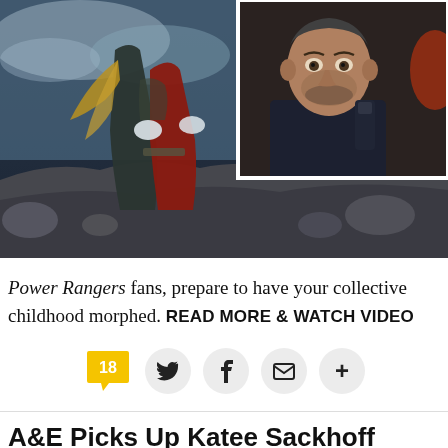[Figure (photo): Main scene: two characters embracing in a dramatic outdoor rocky landscape, one wearing a red outfit with gloves. Inset photo in top right: close-up of a man with stubble wearing a dark shirt and backpack gear, looking serious.]
Power Rangers fans, prepare to have your collective childhood morphed. READ MORE & WATCH VIDEO
[Figure (infographic): Social sharing bar with comment count badge showing 18 (yellow speech bubble), Twitter bird icon, Facebook f icon, envelope/email icon, and plus icon, all in light gray circular buttons.]
A&E Picks Up Katee Sackhoff Drama